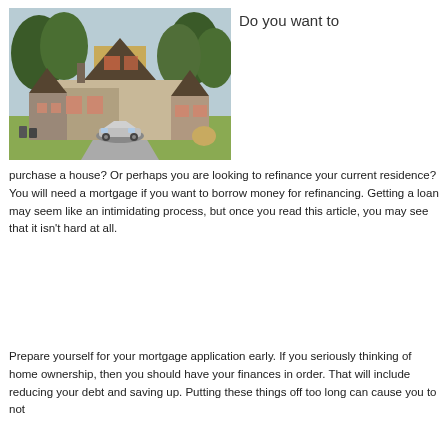[Figure (photo): A large Tudor-style stone and timber house with a silver sports car (Chevrolet Camaro) in the driveway, surrounded by large green trees and a lawn.]
Do you want to
purchase a house? Or perhaps you are looking to refinance your current residence? You will need a mortgage if you want to borrow money for refinancing. Getting a loan may seem like an intimidating process, but once you read this article, you may see that it isn't hard at all.
Prepare yourself for your mortgage application early. If you seriously thinking of home ownership, then you should have your finances in order. That will include reducing your debt and saving up. Putting these things off too long can cause you to not